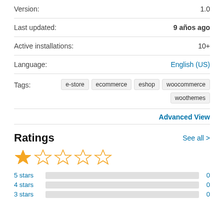| Version: | 1.0 |
| Last updated: | 9 años ago |
| Active installations: | 10+ |
| Language: | English (US) |
| Tags: | e-store  ecommerce  eshop  woocommerce  woothemes |
Advanced View
Ratings
See all >
[Figure (infographic): Star rating display showing 1 out of 5 stars filled in gold, remaining 4 as outlines]
| 5 stars | 0 |
| 4 stars | 0 |
| 3 stars | 0 |